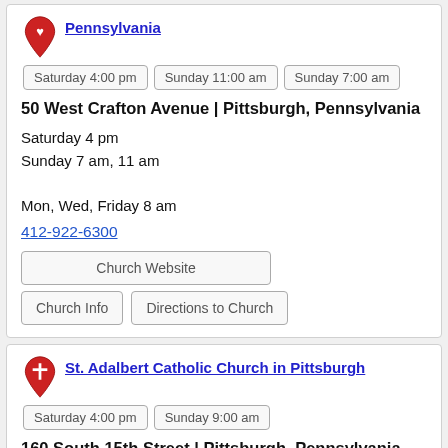Pennsylvania
Saturday 4:00 pm | Sunday 11:00 am | Sunday 7:00 am
50 West Crafton Avenue | Pittsburgh, Pennsylvania
Saturday 4 pm
Sunday 7 am, 11 am

Mon, Wed, Friday 8 am
412-922-6300
Church Website
Church Info
Directions to Church
St. Adalbert Catholic Church in Pittsburgh
Saturday 4:00 pm | Sunday 9:00 am
160 South 15th Street | Pittsburgh, Pennsylvania
Saturday 4 pm
Sunday 9 am